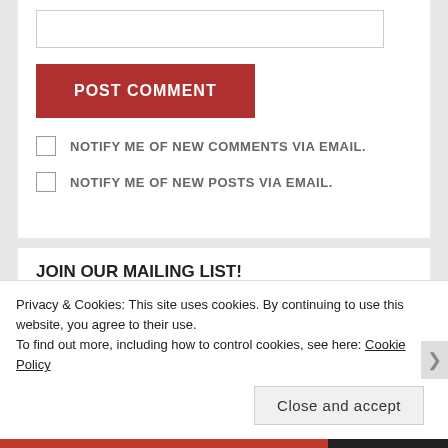[Figure (screenshot): Text input box for comment entry]
[Figure (screenshot): POST COMMENT red button]
NOTIFY ME OF NEW COMMENTS VIA EMAIL.
NOTIFY ME OF NEW POSTS VIA EMAIL.
JOIN OUR MAILING LIST!
Enter your email address to stay updated with regular Feet News from The Word on the Feet.
Privacy & Cookies: This site uses cookies. By continuing to use this website, you agree to their use.
To find out more, including how to control cookies, see here: Cookie Policy
Close and accept